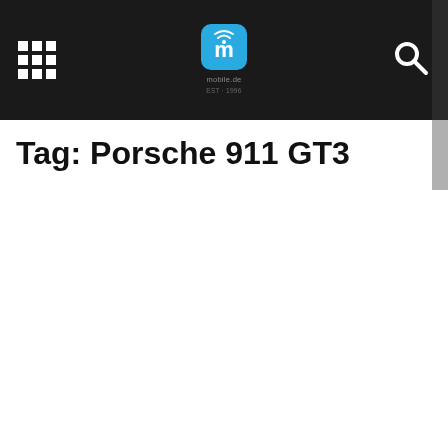mobilede navigation bar with grid menu, mobilede logo, and search icon
Tag: Porsche 911 GT3